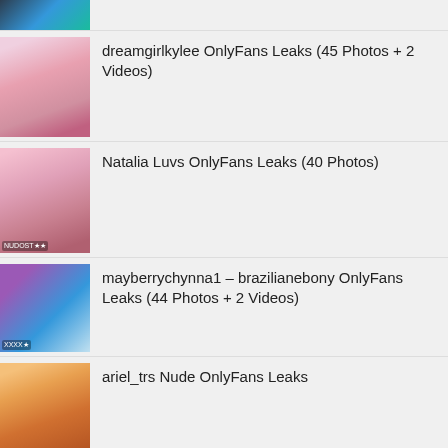(partially visible top image)
dreamgirlkylee OnlyFans Leaks (45 Photos + 2 Videos)
Natalia Luvs OnlyFans Leaks (40 Photos)
mayberrychynna1 – brazilianebony OnlyFans Leaks (44 Photos + 2 Videos)
ariel_trs Nude OnlyFans Leaks
Kristen Avery Smith Nude